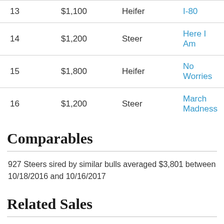| 13 | $1,100 | Heifer | I-80 |
| 14 | $1,200 | Steer | Here I Am |
| 15 | $1,800 | Heifer | No Worries |
| 16 | $1,200 | Steer | March Madness |
Comparables
927 Steers sired by similar bulls averaged $3,801 between 10/18/2016 and 10/16/2017
Related Sales